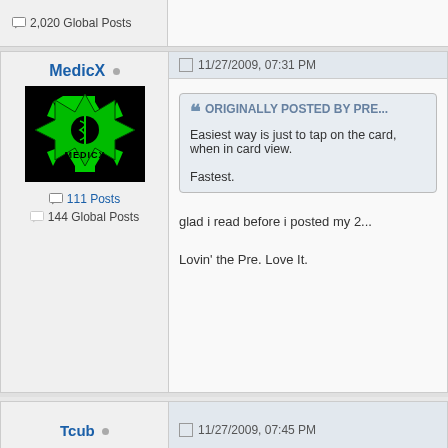2,020 Global Posts
MedicX
[Figure (photo): MedicX avatar: black background with green Star of Life medical symbol and text MEDICX]
111 Posts
144 Global Posts
11/27/2009, 07:31 PM
Originally Posted by Pre...
Easiest way is just to tap on the card, when in card view.
Fastest.
glad i read before i posted my 2...
Lovin' the Pre. Love It.
Tcub
11/27/2009, 07:45 PM